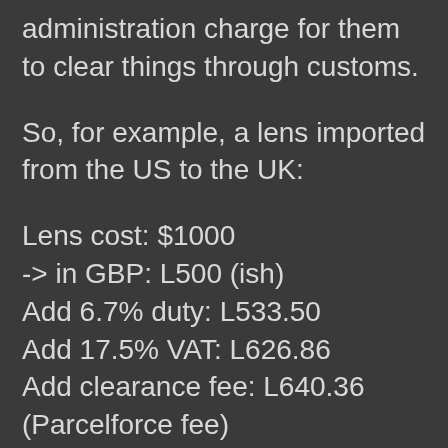administration charge for them to clear things through customs.
So, for example, a lens imported from the US to the UK:
Lens cost: $1000
-> in GBP: L500 (ish)
Add 6.7% duty: L533.50
Add 17.5% VAT: L626.86
Add clearance fee: L640.36 (Parcelforce fee)
You should pretty much anticipate paying 30% over the dollar price, not counting